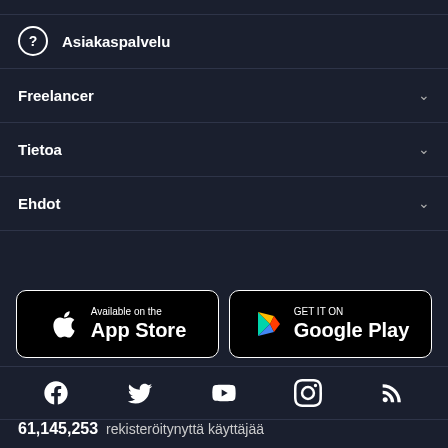Asiakaspalvelu
Freelancer
Tietoa
Ehdot
[Figure (screenshot): App Store and Google Play download badges]
[Figure (infographic): Social media icons: Facebook, Twitter, YouTube, Instagram, RSS]
61,145,253 rekisteröitynyttä käyttäjää